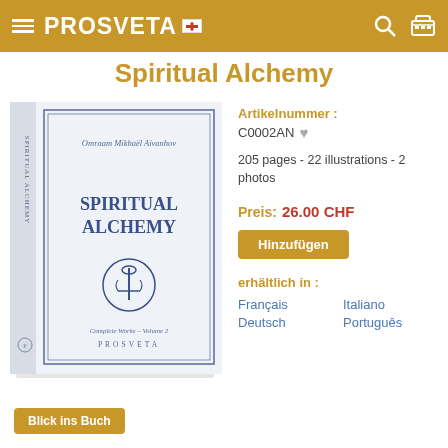PROSVETA
Spiritual Alchemy
[Figure (photo): Book cover image of 'Spiritual Alchemy' by Omraam Mikhaël Aïvanhov, Complete Works Volume 2, Prosveta. White cover with blue text and anchor logo.]
Artikelnummer : C0002AN
205 pages - 22 illustrations - 2 photos
Preis: 26.00 CHF
Hinzufügen
erhältlich in :
Français   Italiano
Deutsch   Português
Blick ins Buch